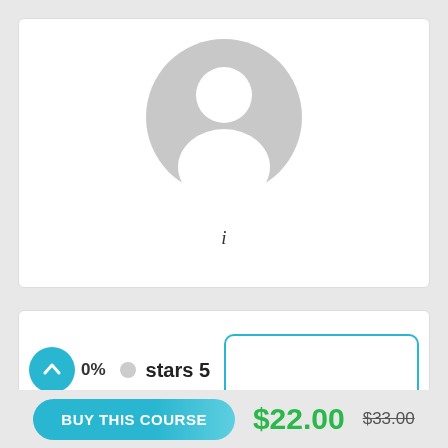[Figure (illustration): Default user avatar placeholder — gray circle with white silhouette of a person (head and shoulders)]
i
0%
stars 5
BUY THIS COURSE  $22.00  $33.00